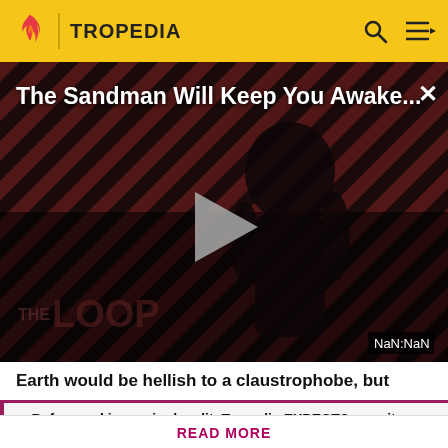TROPEDIA
[Figure (screenshot): Tropedia video player showing 'The Sandman Will Keep You Awake...' with a dark figure on a striped red/black background, play button in center, NaN:NaN timestamp, and THE LOOP text at bottom]
Earth would be hellish to a claustrophobe, but
Before making a single edit, Tropedia EXPECTS our site policy and manual of style to be followed. Failure to do so may
READ MORE